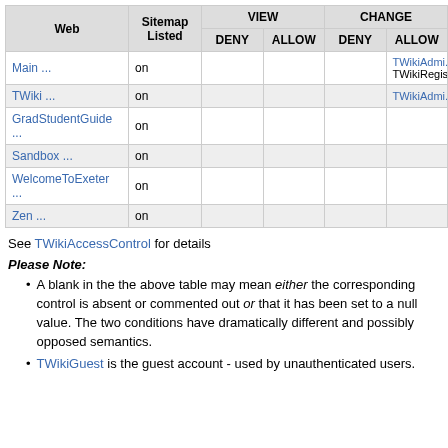| Web | Sitemap Listed | VIEW DENY | VIEW ALLOW | CHANGE DENY | CHANGE ALLOW |
| --- | --- | --- | --- | --- | --- |
| Main ... | on |  |  |  | TWikiAdmi... TWikiRegis... |
| TWiki ... | on |  |  |  | TWikiAdmi... |
| GradStudentGuide ... | on |  |  |  |  |
| Sandbox ... | on |  |  |  |  |
| WelcomeToExeter ... | on |  |  |  |  |
| Zen ... | on |  |  |  |  |
See TWikiAccessControl for details
Please Note:
A blank in the the above table may mean either the corresponding control is absent or commented out or that it has been set to a null value. The two conditions have dramatically different and possibly opposed semantics.
TWikiGuest is the guest account - used by unauthenticated users.